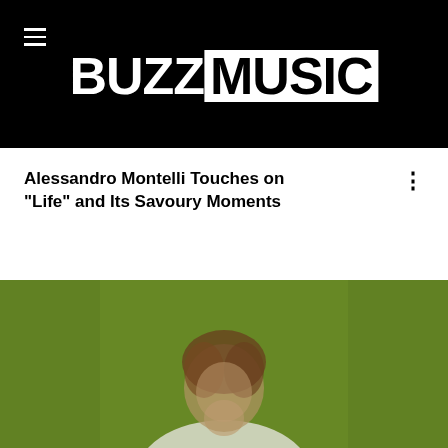BUZZ MUSIC
Alessandro Montelli Touches on "Life" and Its Savoury Moments
[Figure (photo): Blurred photo of a person with brown hair against a green background, wearing a white shirt]